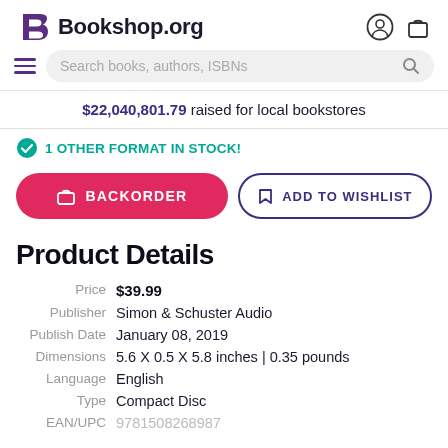Bookshop.org
$22,040,801.79 raised for local bookstores
1 OTHER FORMAT IN STOCK!
BACKORDER | ADD TO WISHLIST
Product Details
| Field | Value |
| --- | --- |
| Price | $39.99 |
| Publisher | Simon & Schuster Audio |
| Publish Date | January 08, 2019 |
| Dimensions | 5.6 X 0.5 X 5.8 inches | 0.35 pounds |
| Language | English |
| Type | Compact Disc |
| EAN/UPC | 9781508268987 |